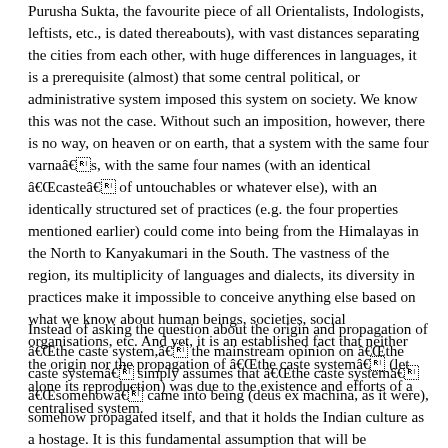Purusha Sukta, the favourite piece of all Orientalists, Indologists, leftists, etc., is dated thereabouts), with vast distances separating the cities from each other, with huge differences in languages, it is a prerequisite (almost) that some central political, or administrative system imposed this system on society. We know this was not the case. Without such an imposition, however, there is no way, on heaven or on earth, that a system with the same four varnaâs, with the same four names (with an identical âcasteâ of untouchables or whatever else), with an identically structured set of practices (e.g. the four properties mentioned earlier) could come into being from the Himalayas in the North to Kanyakumari in the South. The vastness of the region, its multiplicity of languages and dialects, its diversity in practices make it impossible to conceive anything else based on what we know about human beings, societies, social organisations, etc. And yet, it is an established fact that neither the origin nor the propagation of âthe caste systemâ (let alone its reproduction) was due to the existence and efforts of a centralised system.
Instead of asking the question about the origin and propagation of âthe caste system,â the mainstream opinion on âthe caste systemâ simply assumes that âthe caste systemâ âsomehowâ came into being (deus ex machina, as it were), somehow propagated itself, and that it holds the Indian culture as a hostage. It is this fundamental assumption that will be challenged as the proceeding chapters develop.